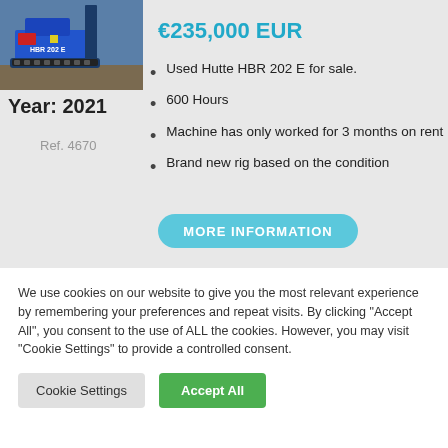[Figure (photo): Blue Hutte HBR 202 E drilling rig machine on tracks in a workshop/industrial setting]
Year: 2021
Ref. 4670
€235,000 EUR
Used Hutte HBR 202 E for sale.
600 Hours
Machine has only worked for 3 months on rent
Brand new rig based on the condition
MORE INFORMATION
We use cookies on our website to give you the most relevant experience by remembering your preferences and repeat visits. By clicking "Accept All", you consent to the use of ALL the cookies. However, you may visit "Cookie Settings" to provide a controlled consent.
Cookie Settings
Accept All